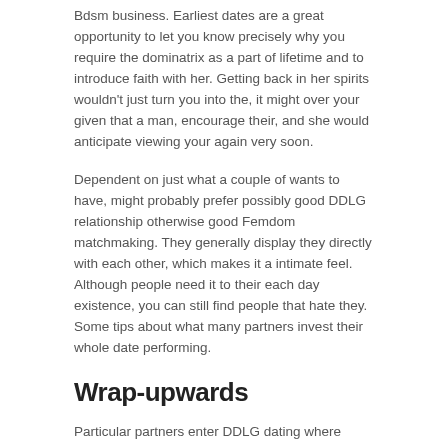Bdsm business. Earliest dates are a great opportunity to let you know precisely why you require the dominatrix as a part of lifetime and to introduce faith with her. Getting back in her spirits wouldn't just turn you into the, it might over your given that a man, encourage their, and she would anticipate viewing your again very soon.
Dependent on just what a couple of wants to have, might probably prefer possibly good DDLG relationship otherwise good Femdom matchmaking. They generally display they directly with each other, which makes it a intimate feel. Although people need it to their each day existence, you can still find people that hate they. Some tips about what many partners invest their whole date performing.
Wrap-upwards
Particular partners enter DDLG dating where there's absolutely no intimate part. There are also people that like Typical Femdom relationships. Most people do that as they accept that this type of relationships support heal childhood upheaval. This means that, they feel less troubled when they've a great caregiver they're able to turn to. People is explore a romance associated with characteristics in the an option various implies. Developing a-deep comprehension of one another means building a close matchmaking between your some one